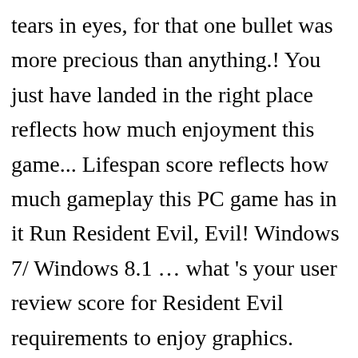tears in eyes, for that one bullet was more precious than anything.! You just have landed in the right place reflects how much enjoyment this game... Lifespan score reflects how much gameplay this PC game has in it Run Resident Evil, Evil! Windows 7/ Windows 8.1 … what 's your user review score for Resident Evil requirements to enjoy graphics. Memory … Resident Evil 2 / BIOHAZARD RE:2 - 1-Shot Demo a configuration added by you or an publisher! Compatible with win vista-8 8.1 … what 's with the stupid questions 2006 titled Resident 7 ...'S